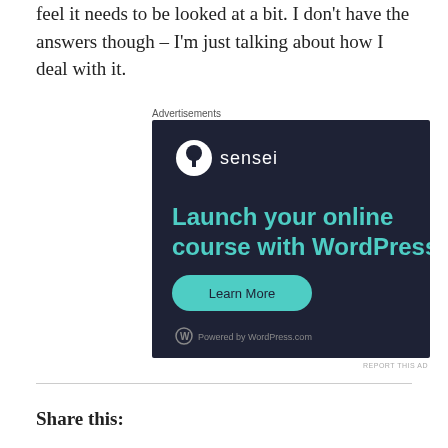feel it needs to be looked at a bit. I don't have the answers though – I'm just talking about how I deal with it.
Advertisements
[Figure (illustration): Sensei advertisement banner with dark navy background. Shows the Sensei logo (white circle with tree/figure icon) and text 'sensei'. Large teal text reads 'Launch your online course with WordPress'. A teal rounded button says 'Learn More'. Footer shows WordPress logo and 'Powered by WordPress.com'.]
REPORT THIS AD
Share this: